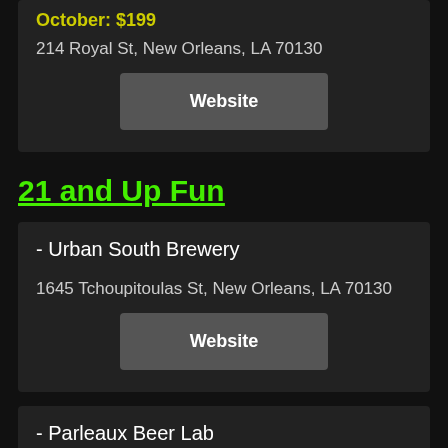October: $199
214 Royal St, New Orleans, LA 70130
Website
21 and Up Fun
- Urban South Brewery
1645 Tchoupitoulas St, New Orleans, LA 70130
Website
- Parleaux Beer Lab